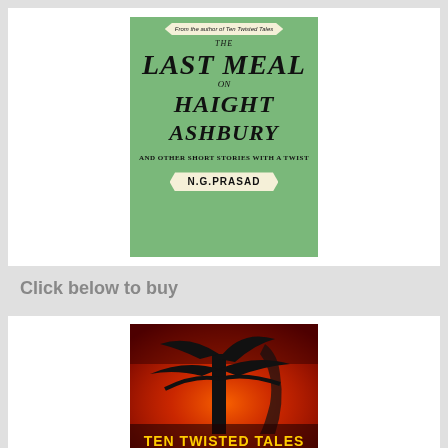[Figure (illustration): Book cover for 'The Last Meal on Haight Ashbury and Other Short Stories with a Twist' by N.G.Prasad. Green background with decorative banner at top reading 'From the author of Ten Twisted Tales', title in large italic serif font, and author name in a cream ribbon banner at the bottom.]
Click below to buy
[Figure (illustration): Book cover for 'Ten Twisted Tales' showing a dark silhouetted tree against a fiery orange-red background. The title 'TEN TWISTED TALES' appears in yellow text at the bottom.]